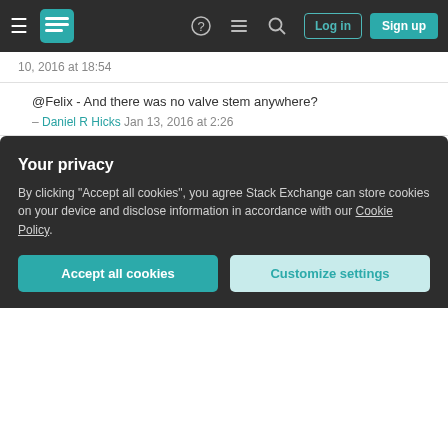Stack Exchange navigation bar with Log in and Sign up buttons
10, 2016 at 18:54
@Felix - And there was no valve stem anywhere? – Daniel R Hicks Jan 13, 2016 at 2:26
Not until I replaced the tube :). I think your answer is likely to be the correct one in more cases, although in my instance it was most likely theft/mischief. – Felix Jan 13, 2016 at 9:43
Add a comment
Perhaps someone was playing a prank on you. It
Your privacy
By clicking "Accept all cookies", you agree Stack Exchange can store cookies on your device and disclose information in accordance with our Cookie Policy.
Accept all cookies  Customize settings